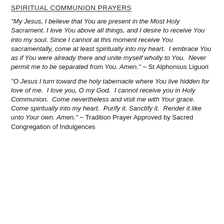SPIRITUAL COMMUNION PRAYERS
“My Jesus, I believe that You are present in the Most Holy Sacrament. I love You above all things, and I desire to receive You into my soul. Since I cannot at this moment receive You sacramentally, come at least spiritually into my heart.  I embrace You as if You were already there and unite myself wholly to You.  Never permit me to be separated from You. Amen.” ~ St Alphonsus Liguori
“O Jesus I turn toward the holy tabernacle where You live hidden for love of me.  I love you, O my God.  I cannot receive you in Holy Communion.  Come nevertheless and visit me with Your grace.  Come spiritually into my heart.  Purify it. Sanctify it.  Render it like unto Your own. Amen.” ~ Tradition Prayer Approved by Sacred Congregation of Indulgences